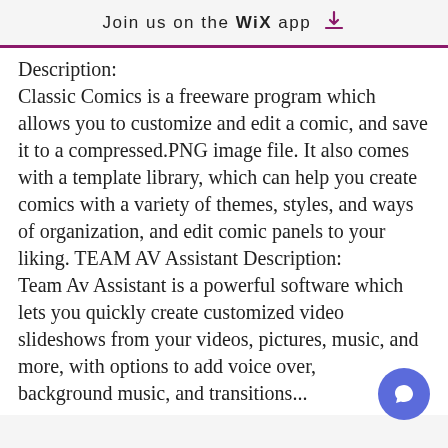Join us on the WiX app
Description:
Classic Comics is a freeware program which allows you to customize and edit a comic, and save it to a compressed.PNG image file. It also comes with a template library, which can help you create comics with a variety of themes, styles, and ways of organization, and edit comic panels to your liking. TEAM AV Assistant Description:
Team Av Assistant is a powerful software which lets you quickly create customized video slideshows from your videos, pictures, music, and more, with options to add voice over, background music, and transitions...